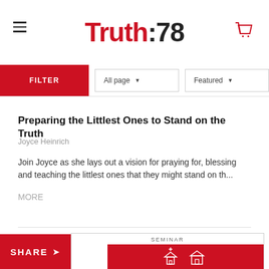Truth:78
FILTER   All page ▼   Featured ▼
Preparing the Littlest Ones to Stand on the Truth
Joyce Heinrich
Join Joyce as she lays out a vision for praying for, blessing and teaching the littlest ones that they might stand on th...
MORE
SEMINAR
SHARE